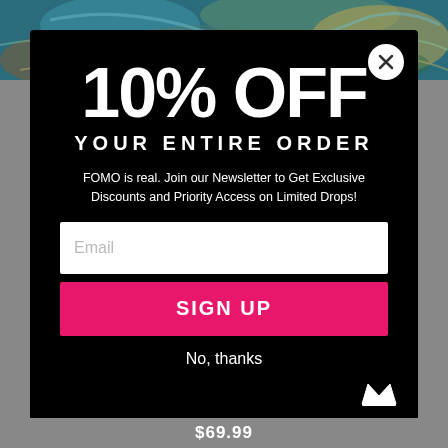[Figure (photo): Van Gogh style swirling artwork visible in background behind modal]
10% OFF YOUR ENTIRE ORDER
FOMO is real. Join our Newsletter to Get Exclusive Discounts and Priority Access on Limited Drops!
Email
SIGN UP
No, thanks
$69.99